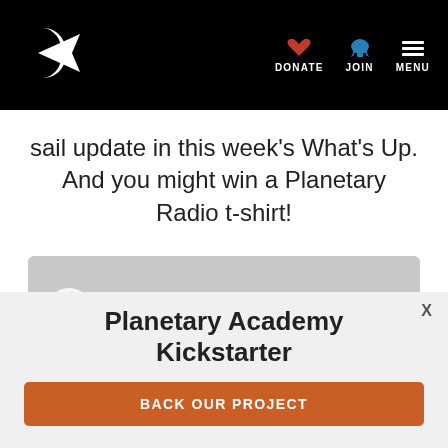Planetary Society navigation bar with logo, DONATE, JOIN, MENU
sail update in this week's What's Up. And you might win a Planetary Radio t-shirt!
[Figure (other): Audio/video player with play button on gray background]
Planetary Academy Kickstarter
BACK OUR PROJECT